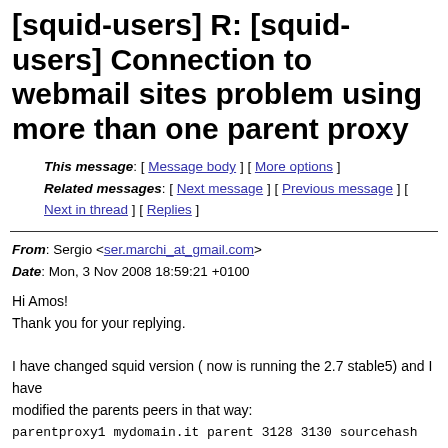[squid-users] R: [squid-users] Connection to webmail sites problem using more than one parent proxy
This message: [ Message body ] [ More options ]
Related messages: [ Next message ] [ Previous message ] [ Next in thread ] [ Replies ]
From: Sergio <ser.marchi_at_gmail.com>
Date: Mon, 3 Nov 2008 18:59:21 +0100
Hi Amos!
Thank you for your replying.

I have changed squid version ( now is running the 2.7 stable5) and I have
modified the parents peers in that way:
parentproxy1 mydomain.it parent 3128 3130 sourcehash